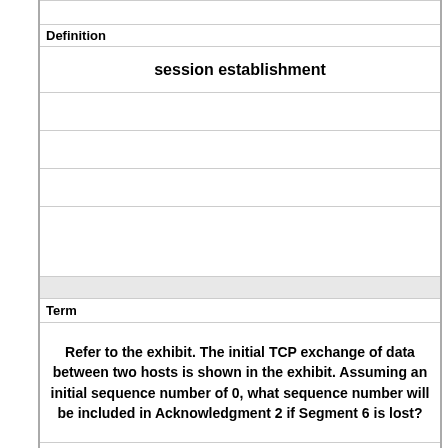| Definition |
| --- |
| session establishment |
| Term |
| --- |
| Refer to the exhibit. The initial TCP exchange of data between two hosts is shown in the exhibit. Assuming an initial sequence number of 0, what sequence number will be included in Acknowledgment 2 if Segment 6 is lost? |